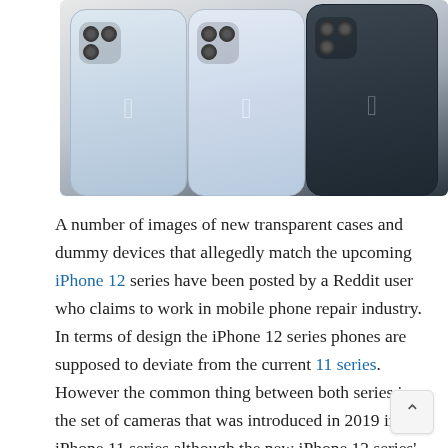[Figure (photo): Three iPhones photographed from the back showing their rear cameras and Apple logos. Two lighter colored phones on the left and center, one dark/black phone on the right. The phones are standing side by side showing their back panels.]
A number of images of new transparent cases and dummy devices that allegedly match the upcoming iPhone 12 series have been posted by a Reddit user who claims to work in mobile phone repair industry. In terms of design the iPhone 12 series phones are supposed to deviate from the current 11 series. However the common thing between both series is the set of cameras that was introduced in 2019 in iPhone 11 series although the new iPhone 12 series' each camera may have more lenses.